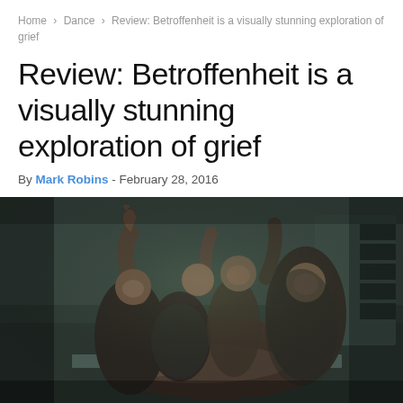Home > Dance > Review: Betroffenheit is a visually stunning exploration of grief
Review: Betroffenheit is a visually stunning exploration of grief
By Mark Robins - February 28, 2016
[Figure (photo): Dancers in a dramatic performance of Betroffenheit, a group of performers in contorted poses on a stage floor, lit with moody dark greenish lighting]
Figure: Betroffenheit — Photo: Mark Robins